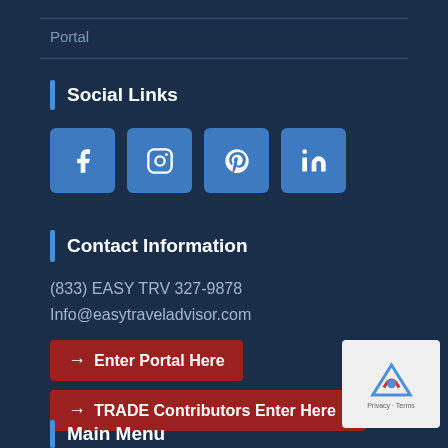Portal
Social Links
[Figure (other): Social media icons: Facebook, Instagram, Pinterest, LinkedIn]
Contact Information
(833) EASY TRV 327-9878
Info@easytraveladvisor.com
→ Enter Portal Here
→ TRADE Contributors Enter Here
Main Menu